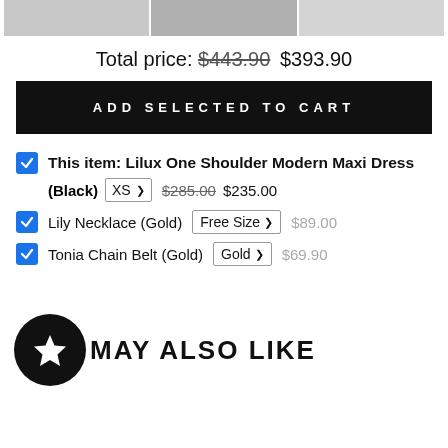[Figure (photo): Three product images of fashion items (dress, necklace, belt) partially visible at top]
Total price: $443.90 $393.90
ADD SELECTED TO CART
This item: Lilux One Shoulder Modern Maxi Dress (Black) XS — $285.00 $235.00
Lily Necklace (Gold) Free Size — $89.00
Tonia Chain Belt (Gold) Gold — $69.90
MAY ALSO LIKE